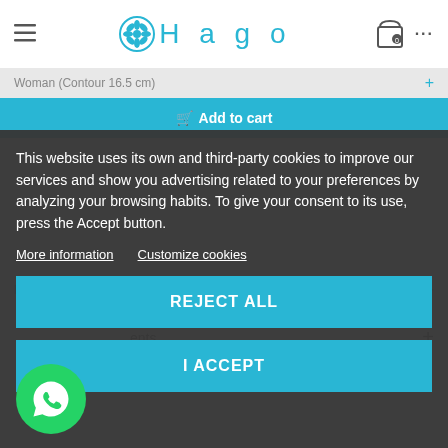Hago
Woman (Contour 16.5 cm)
Add to cart
This website uses its own and third-party cookies to improve our services and show you advertising related to your preferences by analyzing your browsing habits. To give your consent to its use, press the Accept button.
More information   Customize cookies
REJECT ALL
I ACCEPT
Product Details
ents